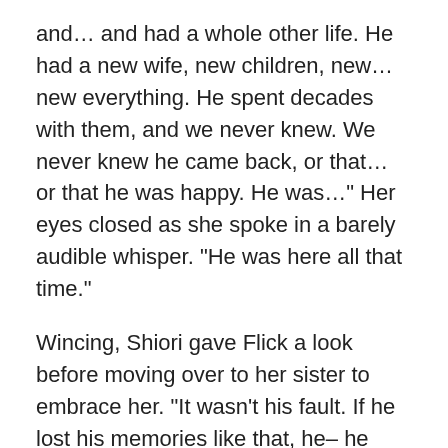and… and had a whole other life. He had a new wife, new children, new… new everything. He spent decades with them, and we never knew. We never knew he came back, or that… or that he was happy. He was…" Her eyes closed as she spoke in a barely audible whisper. "He was here all that time."
Wincing, Shiori gave Flick a look before moving over to her sister to embrace her. "It wasn't his fault. If he lost his memories like that, he– he couldn't remember anything. He couldn't–"
"I know," Asenath assured her, voice cracking slightly. "I know it's not his fault. I'm not angry at him. I'm just—he didn't know me. He doesn't know me. He doesn't know my mother. He didn't even know Seth. He doesn't know any of us. He has no idea who we are. We told him, we told him